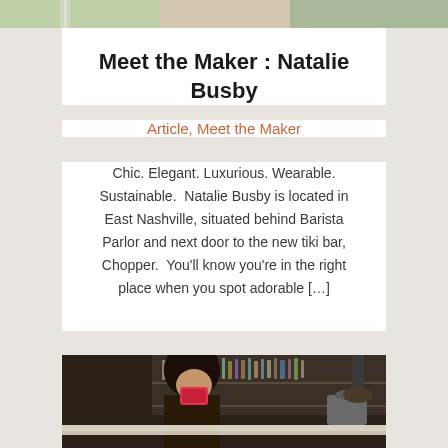[Figure (photo): Top portion of a photo showing a person, cropped at top of page with green/plant background]
Meet the Maker : Natalie Busby
Article, Meet the Maker
Chic. Elegant. Luxurious. Wearable. Sustainable.  Natalie Busby is located in East Nashville, situated behind Barista Parlor and next door to the new tiki bar, Chopper.  You'll know you're in the right place when you spot adorable [...]
[Figure (photo): Photo of a woman with dark hair at a bar, holding a red/pink phone up to her face, bar shelves with bottles visible in background]